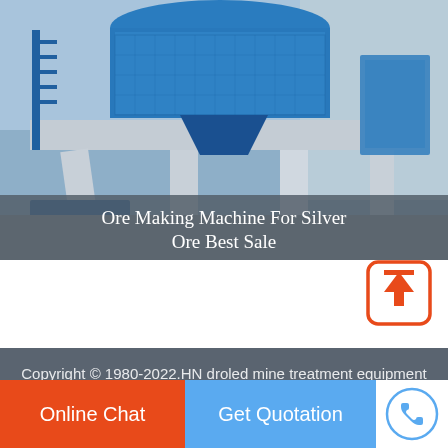[Figure (photo): Industrial ore making / crushing machine painted blue, large cylindrical body with platform, standing in a factory or industrial floor. Text overlay at bottom reads 'Ore Making Machine For Silver Ore Best Sale'.]
Ore Making Machine For Silver Ore Best Sale
[Figure (other): Back-to-top button icon: orange rounded square with white upward arrow and horizontal bar at top.]
Copyright © 1980-2022.HN droled mine treatment equipment expert All rights reserved.    Sitemap
Online Chat
Get Quotation